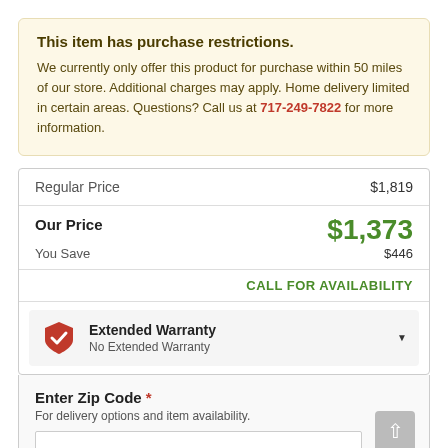This item has purchase restrictions.
We currently only offer this product for purchase within 50 miles of our store. Additional charges may apply. Home delivery limited in certain areas. Questions? Call us at 717-249-7822 for more information.
| Label | Value |
| --- | --- |
| Regular Price | $1,819 |
| Our Price | $1,373 |
| You Save | $446 |
|  | CALL FOR AVAILABILITY |
Extended Warranty
No Extended Warranty
Enter Zip Code *
For delivery options and item availability.